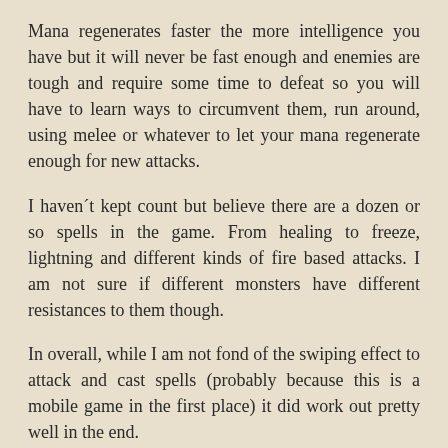Mana regenerates faster the more intelligence you have but it will never be fast enough and enemies are tough and require some time to defeat so you will have to learn ways to circumvent them, run around, using melee or whatever to let your mana regenerate enough for new attacks.
I haven´t kept count but believe there are a dozen or so spells in the game. From healing to freeze, lightning and different kinds of fire based attacks. I am not sure if different monsters have different resistances to them though.
In overall, while I am not fond of the swiping effect to attack and cast spells (probably because this is a mobile game in the first place) it did work out pretty well in the end.
Rating 2.5
Character generation & development
You start off with one pregenerated character so there is no character generation. You are a fixed person in the story. When you develop your stats, attributes, et cetera...